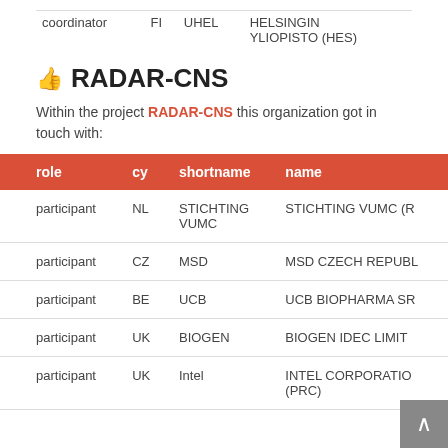| role | cy | shortname | name |
| --- | --- | --- | --- |
| coordinator | FI | UHEL | HELSINGIN YLIOPISTO (HES) |
RADAR-CNS
Within the project RADAR-CNS this organization got in touch with:
| role | cy | shortname | name |
| --- | --- | --- | --- |
| participant | NL | STICHTING VUMC | STICHTING VUMC (R... |
| participant | CZ | MSD | MSD CZECH REPUBL... |
| participant | BE | UCB | UCB BIOPHARMA SR... |
| participant | UK | BIOGEN | BIOGEN IDEC LIMIT... |
| participant | UK | Intel | INTEL CORPORATIO... (PRC) |